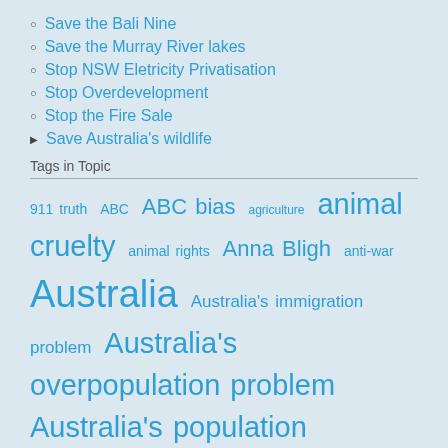Save the Bali Nine
Save the Murray River lakes
Stop NSW Eletricity Privatisation
Stop Overdevelopment
Stop the Fire Sale
Save Australia's wildlife
Tags in Topic
911 truth ABC ABC bias agriculture animal cruelty animal rights Anna Bligh anti-war Australia Australia's immigration problem Australia's overpopulation problem Australia's population problem bad laws Bashar al-Assad biodiversity book review Brumby government Canada Censorship chemical weapons climate change conservation Corruption counter-growth lobby counterspin COVID-19 cruelty democracy democracy alert